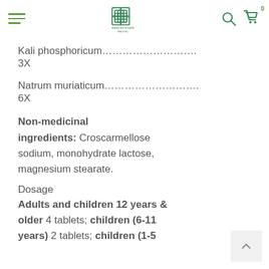Rediscover Health Inc. — navigation header with logo, hamburger menu, search and cart icons
Kali phosphoricum………………………. 3X
Natrum muriaticum……………………….. 6X
Non-medicinal ingredients: Croscarmellose sodium, monohydrate lactose, magnesium stearate.
Dosage
Adults and children 12 years & older 4 tablets; children (6-11 years) 2 tablets; children (1-5